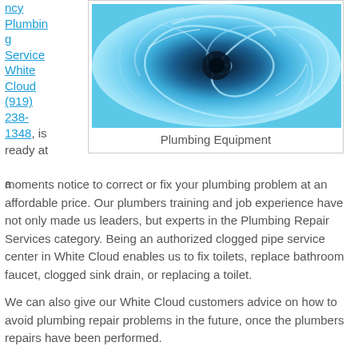ncy Plumbing Service White Cloud (919) 238-1348, is ready at a
[Figure (photo): Close-up swirling water drain creating a spiral vortex pattern in blue water]
Plumbing Equipment
moments notice to correct or fix your plumbing problem at an affordable price. Our plumbers training and job experience have not only made us leaders, but experts in the Plumbing Repair Services category. Being an authorized clogged pipe service center in White Cloud enables us to fix toilets, replace bathroom faucet, clogged sink drain, or replacing a toilet.
We can also give our White Cloud customers advice on how to avoid plumbing repair problems in the future, once the plumbers repairs have been performed.
With our local MI Plumbing Repair Services, we will be able to